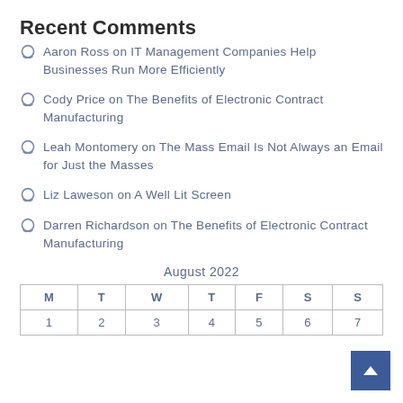Recent Comments
Aaron Ross on IT Management Companies Help Businesses Run More Efficiently
Cody Price on The Benefits of Electronic Contract Manufacturing
Leah Montomery on The Mass Email Is Not Always an Email for Just the Masses
Liz Laweson on A Well Lit Screen
Darren Richardson on The Benefits of Electronic Contract Manufacturing
August 2022
| M | T | W | T | F | S | S |
| --- | --- | --- | --- | --- | --- | --- |
| 1 | 2 | 3 | 4 | 5 | 6 | 7 |